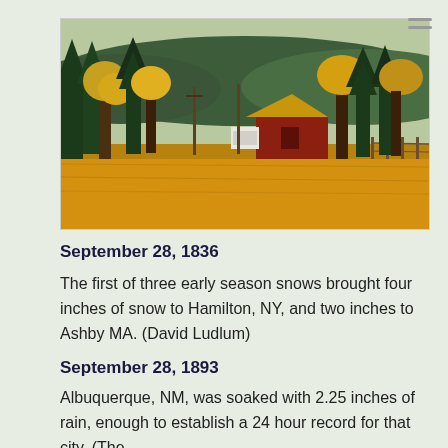[Figure (photo): Autumn rural landscape with a red barn and golden roof in a golden field, surrounded by evergreen and autumn-colored trees, hills in the background]
September 28, 1836
The first of three early season snows brought four inches of snow to Hamilton, NY, and two inches to Ashby MA. (David Ludlum)
September 28, 1893
Albuquerque, NM, was soaked with 2.25 inches of rain, enough to establish a 24 hour record for that city. (The